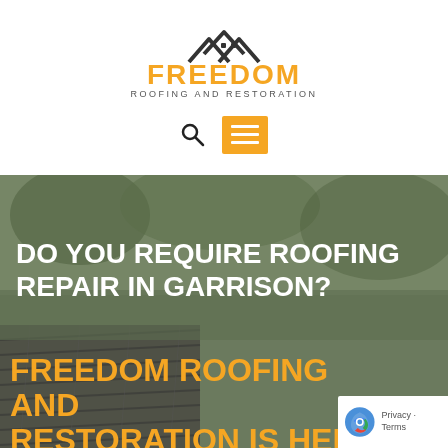[Figure (logo): Freedom Roofing and Restoration logo with house/roof icon in dark grey and orange text]
[Figure (other): Search icon (magnifying glass) and orange hamburger menu button]
[Figure (photo): Background photo of a roof with dark greenish-grey shingles and foliage]
DO YOU REQUIRE ROOFING REPAIR IN GARRISON?
FREEDOM ROOFING AND RESTORATION IS HERE FOR ALL OF YOUR ROOFING REPAIR NEE
[Figure (other): Google reCAPTCHA badge with logo, Privacy and Terms text]